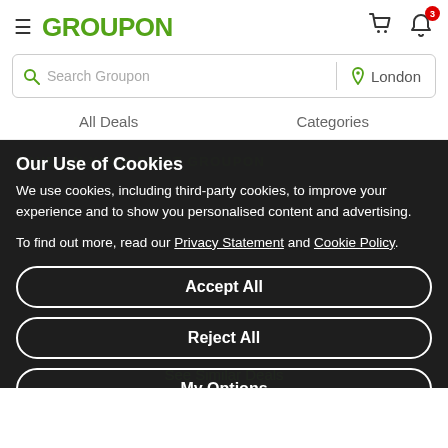GROUPON
Search Groupon | London
All Deals   Categories
Our Use of Cookies
SAVE ON YOUR FIRST GROUPON
We use cookies, including third-party cookies, to improve your experience and to show you personalised content and advertising.
To find out more, read our Privacy Statement and Cookie Policy.
Accept All
Reject All
My Options
See Similar Deals